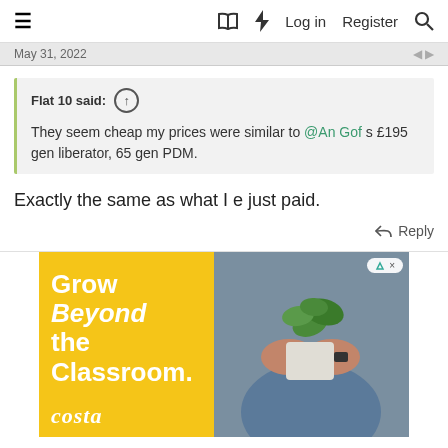≡  [book icon] [lightning icon]  Log in  Register  [search icon]
May 31, 2022
Flat 10 said: ↑
They seem cheap my prices were similar to @An Gof s £195 gen liberator, 65 gen PDM.
Exactly the same as what I e just paid.
Reply
[Figure (photo): Advertisement banner: yellow background with person holding a potted plant. Text: Grow Beyond the Classroom. Costa logo at bottom.]